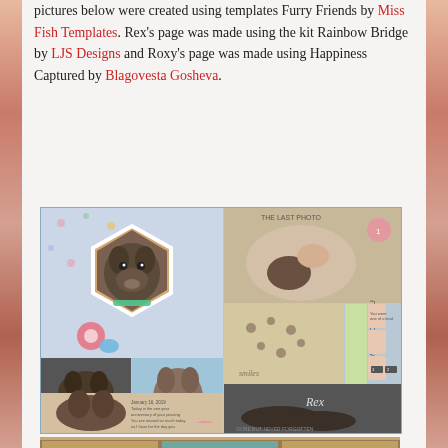pictures below were created using templates Furry Friends by Miss Fish Templates. Rex's page was made using the kit Rainbow Bridge by LJS Designs and Roxy's page was made using Happiness Captured by Blagovesta Gosheva.
[Figure (photo): Scrapbook layout featuring multiple photos of a French Bulldog named Rex. Includes a large hexagon-framed portrait photo of the dog, a photo labeled 'The Last Photo' showing a person holding the dog, smaller photos of the dog in various settings, a 'Good Companion' caption section, paw print decorations, text reading 'WHY I LOVE YOU' vertically, and a section labeled 'Rex' showing the dog sleeping on a couch. Decorative scrapbooking elements including flowers and patterned papers.]
[Figure (photo): Partial view of a second scrapbook layout, appearing to show three photo frames side by side with warm tan/orange tones, likely featuring the dog Roxy. Only the top portion is visible.]